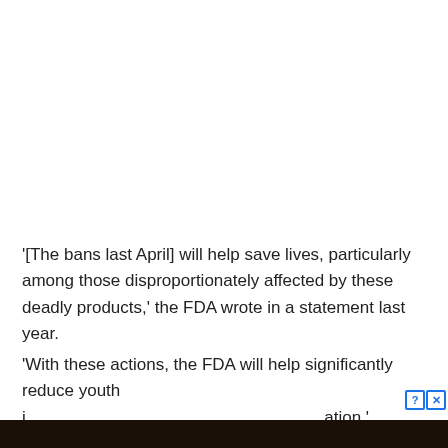'[The bans last April] will help save lives, particularly among those disproportionately affected by these deadly products,' the FDA wrote in a statement last year.
'With these actions, the FDA will help significantly reduce youth i[nhalation/nicotine addiction across the na]tion.'
[Figure (illustration): An advertisement banner for a mobile game called 'Whispers' overlaying the article text, showing a romantic collage of illustrated characters with a stylized orange and pink 'Whispers' logo. A question mark and X close button appear in the top-right of the ad.]